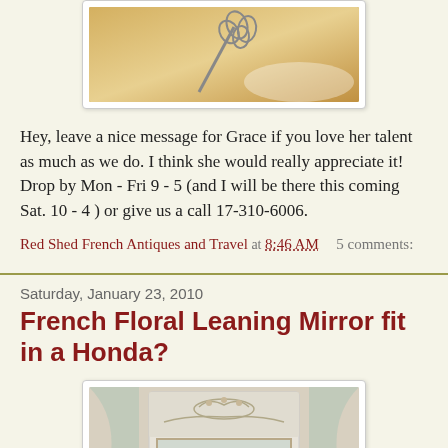[Figure (photo): Top cropped photo showing what appears to be a whisk or wire sculpture on a light background, warm golden tones]
Hey, leave a nice message for Grace if you love her talent as much as we do. I think she would really appreciate it! Drop by Mon - Fri 9 - 5 (and I will be there this coming Sat. 10 - 4 ) or give us a call 17-310-6006.
Red Shed French Antiques and Travel at 8:46 AM    5 comments:
Saturday, January 23, 2010
French Floral Leaning Mirror fit in a Honda?
[Figure (photo): Photo of a large ornate French-style white painted mirror with floral carved decorations at the top, leaning against a wall with curtains visible on the sides]